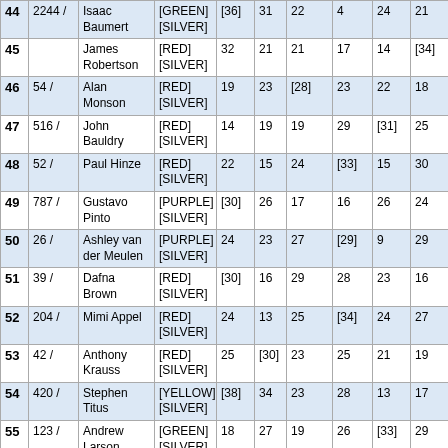| # | ID | Name | Color | Col5 | Col6 | Col7 | Col8 | Col9 | Col10 |
| --- | --- | --- | --- | --- | --- | --- | --- | --- | --- |
| 44 | 2244 / | Isaac Baumert | [GREEN] [SILVER] | [36] | 31 | 22 | 4 | 24 | 21 |
| 45 |  | James Robertson | [RED] [SILVER] | 32 | 21 | 21 | 17 | 14 | [34] |
| 46 | 54 / | Alan Monson | [RED] [SILVER] | 19 | 23 | [28] | 23 | 22 | 18 |
| 47 | 516 / | John Bauldry | [RED] [SILVER] | 14 | 19 | 19 | 29 | [31] | 25 |
| 48 | 52 / | Paul Hinze | [RED] [SILVER] | 22 | 15 | 24 | [33] | 15 | 30 |
| 49 | 787 / | Gustavo Pinto | [PURPLE] [SILVER] | [30] | 26 | 17 | 16 | 26 | 24 |
| 50 | 26 / | Ashley van der Meulen | [PURPLE] [SILVER] | 24 | 23 | 27 | [29] | 9 | 29 |
| 51 | 39 / | Dafna Brown | [RED] [SILVER] | [30] | 16 | 29 | 28 | 23 | 16 |
| 52 | 204 / | Mimi Appel | [RED] [SILVER] | 24 | 13 | 25 | [34] | 24 | 27 |
| 53 | 42 / | Anthony Krauss | [RED] [SILVER] | 25 | [30] | 23 | 25 | 21 | 19 |
| 54 | 420 / | Stephen Titus | [YELLOW] [SILVER] | [38] | 34 | 23 | 28 | 13 | 17 |
| 55 | 123 / | Andrew Larson | [GREEN] [SILVER] | 18 | 27 | 19 | 26 | [33] | 29 |
| 56 | 7513 / | Alexander Wessels | [RED] [SILVER] | 16 | 26 | 22 | 32 | [33] | 26 |
| 57 | 951 / | Richard | [RED] | 28 | 28 | [34] | 28 | 27 | 28 |